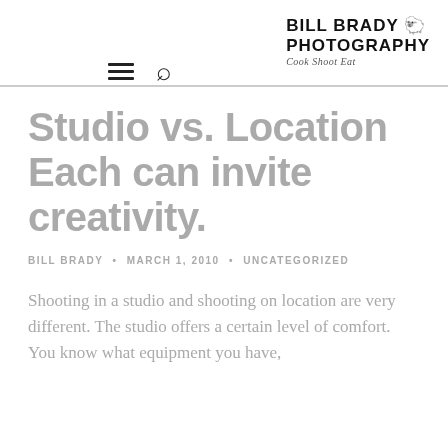BILL BRADY PHOTOGRAPHY Cook Shoot Eat
Studio vs. Location Each can invite creativity.
BILL BRADY • MARCH 1, 2010 • UNCATEGORIZED
Shooting in a studio and shooting on location are very different. The studio offers a certain level of comfort. You know what equipment you have,